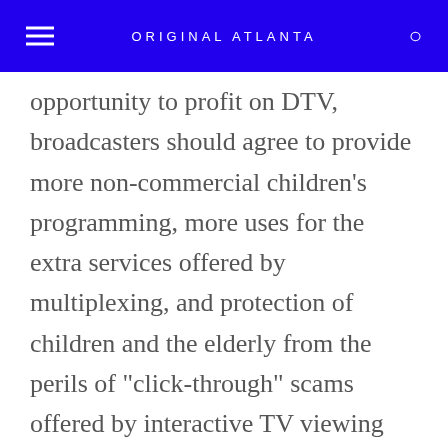ORIGINAL ATLANTA
opportunity to profit on DTV, broadcasters should agree to provide more non-commercial children's programming, more uses for the extra services offered by multiplexing, and protection of children and the elderly from the perils of "click-through" scams offered by interactive TV viewing and marketing, he says.
"So far, they've given out more than 125 new licenses, and no rules have been